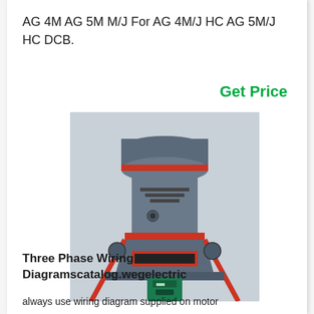AG 4M AG 5M M/J For AG 4M/J HC AG 5M/J HC DCB.
Get Price
[Figure (photo): Industrial grinding mill machine — large blue/grey vertical mill with red accents, a green motor at the base, and supporting diagonal struts.]
Three Phase Wiring Diagramscatalog.wegelectric
always use wiring diagram supplied on motor